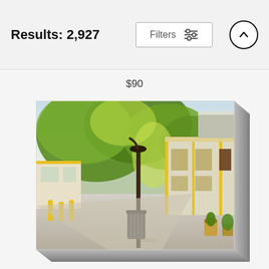Results: 2,927
$90
[Figure (photo): Canvas print of a waterfront promenade with green trees, a lamp post with a trash can, and yellow-accented buildings on the right side. A person in a green shirt is visible near the buildings. Fine Art America watermark visible.]